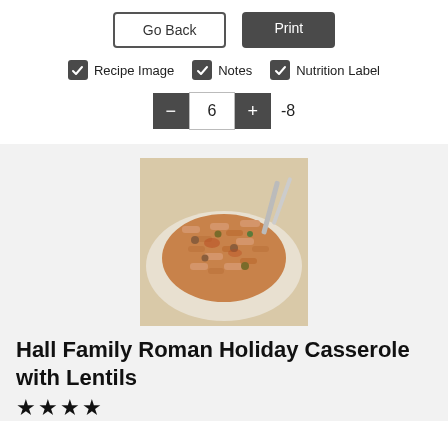Go Back | Print
✓ Recipe Image  ✓ Notes  ✓ Nutrition Label
− 6 + -8
[Figure (photo): A plate of macaroni/penne pasta casserole with lentils and vegetables in tomato sauce, with a fork/spoon in the background]
Hall Family Roman Holiday Casserole with Lentils
★★★★